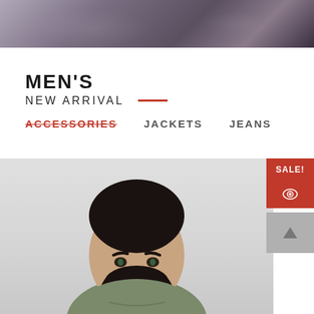[Figure (photo): Top banner image: dark moody landscape with trees and clouds in dark purple-gray tones]
MEN'S
NEW ARRIVAL
ACCESSORIES
JACKETS
JEANS
[Figure (photo): Product photo: bearded man with dark hair in olive green t-shirt on light gray background, with SALE! badge in red corner and quick-view eye icon, plus scroll-up arrow button]
SALE!